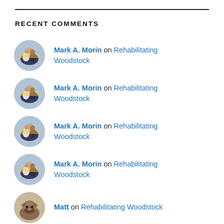RECENT COMMENTS
Mark A. Morin on Rehabilitating Woodstock
Mark A. Morin on Rehabilitating Woodstock
Mark A. Morin on Rehabilitating Woodstock
Mark A. Morin on Rehabilitating Woodstock
Matt on Rehabilitating Woodstock